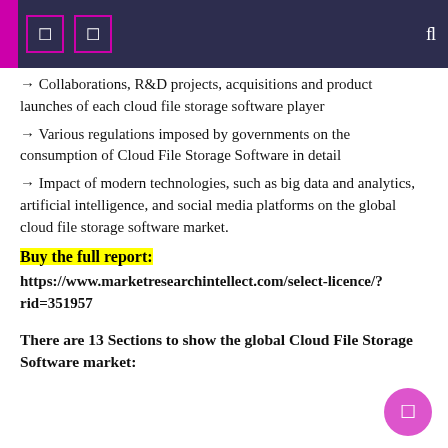→ Collaborations, R&D projects, acquisitions and product launches of each cloud file storage software player
→ Various regulations imposed by governments on the consumption of Cloud File Storage Software in detail
→ Impact of modern technologies, such as big data and analytics, artificial intelligence, and social media platforms on the global cloud file storage software market.
Buy the full report: https://www.marketresearchintellect.com/select-licence/?rid=351957
There are 13 Sections to show the global Cloud File Storage Software market: